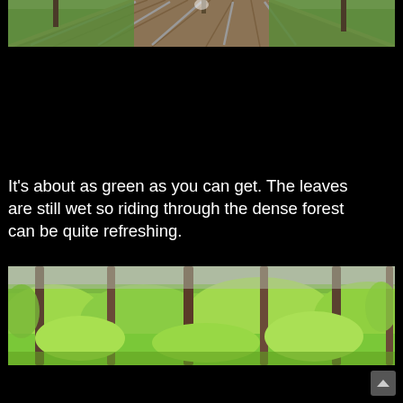[Figure (photo): Top portion of a wooden boardwalk/bridge path leading through a forested area, viewed from above at an angle]
It's about as green as you can get. The leaves are still wet so riding through the dense forest can be quite refreshing.
[Figure (photo): Panoramic view of a dense green forest with tall conifer trees and bright green leafy undergrowth, taken from a low angle looking up]